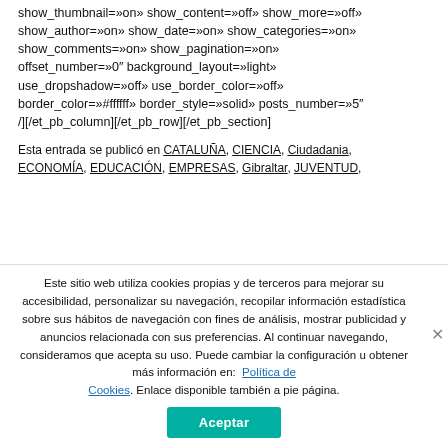show_thumbnail=»on» show_content=»off» show_more=»off» show_author=»on» show_date=»on» show_categories=»on» show_comments=»on» show_pagination=»on» offset_number=»0″ background_layout=»light» use_dropshadow=»off» use_border_color=»off» border_color=»#ffffff» border_style=»solid» posts_number=»5″ /][/et_pb_column][/et_pb_row][/et_pb_section]
Esta entrada se publicó en CATALUÑA, CIENCIA, Ciudadania, ECONOMÍA, EDUCACIÓN, EMPRESAS, Gibraltar, JUVENTUD,
Este sitio web utiliza cookies propias y de terceros para mejorar su accesibilidad, personalizar su navegación, recopilar información estadística sobre sus hábitos de navegación con fines de análisis, mostrar publicidad y anuncios relacionada con sus preferencias. Al continuar navegando, consideramos que acepta su uso. Puede cambiar la configuración u obtener más información en: Política de Cookies. Enlace disponible también a pie página.